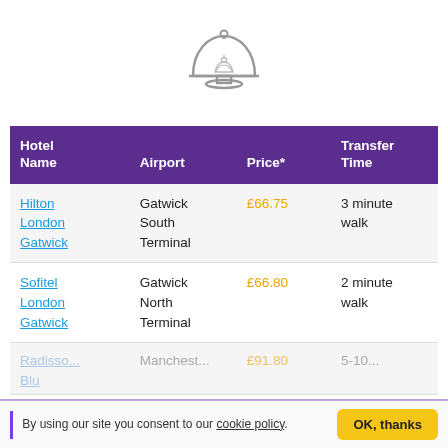[Figure (illustration): A cloche/food cover icon with a cupcake or dessert underneath, outlined in grey, centered at top of page]
| Hotel Name | Airport | Price* | Transfer Time |
| --- | --- | --- | --- |
| Hilton London Gatwick | Gatwick South Terminal | £66.75 | 3 minute walk |
| Sofitel London Gatwick | Gatwick North Terminal | £66.80 | 2 minute walk |
| Radisson Blu | Manchester | £91.80 | 5-10... |
By using our site you consent to our cookie policy. OK, thanks